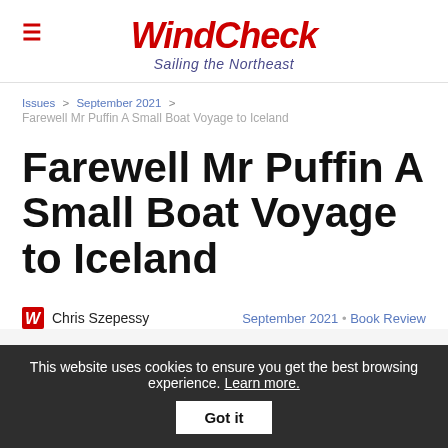WindCheck — Sailing the Northeast
Issues > September 2021 > Farewell Mr Puffin A Small Boat Voyage to Iceland
Farewell Mr Puffin A Small Boat Voyage to Iceland
Chris Szepessy    September 2021 • Book Review
This website uses cookies to ensure you get the best browsing experience. Learn more.  Got it